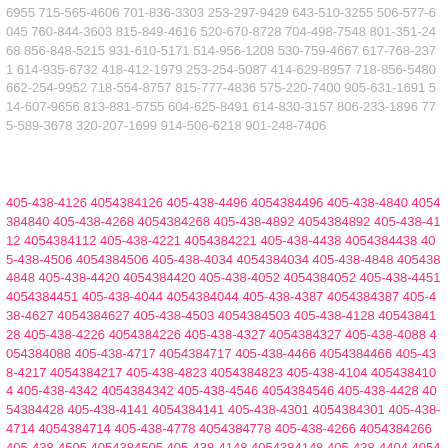6955 715-565-4606 701-836-3303 253-297-9429 643-510-3255 506-577-6045 760-844-3603 815-849-4616 520-670-8728 704-498-7548 801-351-2468 856-848-5215 931-610-5171 514-956-1208 530-759-4667 617-768-2371 614-935-6732 418-412-1979 253-254-5087 414-629-8957 718-856-5480 662-254-9952 718-554-8757 815-777-4836 575-220-7400 905-631-1691 514-607-9656 813-881-5755 604-625-8491 614-830-3157 806-233-1896 775-589-3678 320-207-1699 914-506-6218 901-248-7406
405-438-4126 4054384126 405-438-4496 4054384496 405-438-4840 4054384840 405-438-4268 4054384268 405-438-4892 4054384892 405-438-4112 4054384112 405-438-4221 4054384221 405-438-4438 4054384438 405-438-4506 4054384506 405-438-4034 4054384034 405-438-4848 4054384848 405-438-4420 4054384420 405-438-4052 4054384052 405-438-4451 4054384451 405-438-4044 4054384044 405-438-4387 4054384387 405-438-4627 4054384627 405-438-4503 4054384503 405-438-4128 4054384128 405-438-4226 4054384226 405-438-4327 4054384327 405-438-4088 4054384088 405-438-4717 4054384717 405-438-4466 4054384466 405-438-4217 4054384217 405-438-4823 4054384823 405-438-4104 4054384104 405-438-4342 4054384342 405-438-4546 4054384546 405-438-4428 4054384428 405-438-4141 4054384141 405-438-4301 4054384301 405-438-4714 4054384714 405-438-4778 4054384778 405-438-4266 4054384266 405-438-4505 4054384505 405-438-4148 4054384148 405-438-4404 4054384404 405-438-4255 4054384255 405-438-4754 4054384754 405-438-4384 4054384384 405-438-4677 4054384677 405-438-...